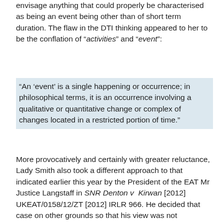envisage anything that could properly be characterised as being an event being other than of short term duration. The flaw in the DTI thinking appeared to her to be the conflation of “activities” and “event”:
“An ‘event’ is a single happening or occurrence; in philosophical terms, it is an occurrence involving a qualitative or quantitative change or complex of changes located in a restricted portion of time.”
More provocatively and certainly with greater reluctance, Lady Smith also took a different approach to that indicated earlier this year by the President of the EAT Mr Justice Langstaff in SNR Denton v Kirwan [2012] UKEAT/0158/12/ZT [2012] IRLR 966. He decided that case on other grounds so that his view was not necessary in order to determine the particular appeal he was dealing with. However he did go on to describe (